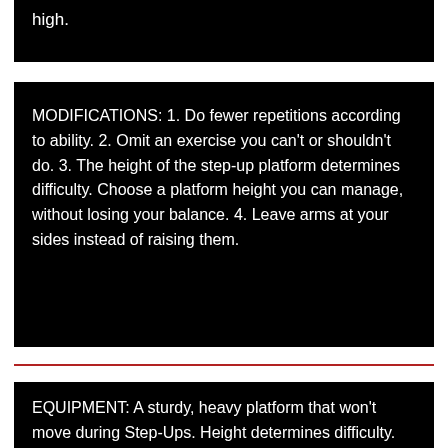high.
MODIFICATIONS: 1. Do fewer repetitions according to ability. 2. Omit an exercise you can't or shouldn't do. 3. The height of the step-up platform determines difficulty. Choose a platform height you can manage, without losing your balance. 4. Leave arms at your sides instead of raising them.
EQUIPMENT: A sturdy, heavy platform that won't move during Step-Ups. Height determines difficulty.